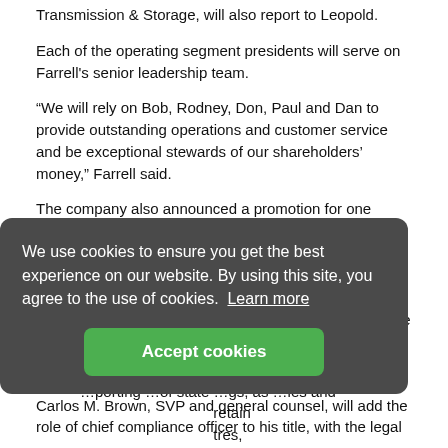Transmission & Storage, will also report to Leopold.
Each of the operating segment presidents will serve on Farrell's senior leadership team.
“We will rely on Bob, Rodney, Don, Paul and Dan to provide outstanding operations and customer service and be exceptional stewards of our shareholders’ money,” Farrell said.
The company also announced a promotion for one officer, and additional responsibilities for two senior officers.
On December 1:
Corynne S. Arnett, vice president-Customer Service (Power Delivery Group), will be promoted to senior vice president
...porting ...of state ...gs, as ...ies and ...retain ...tres,
[Figure (other): Cookie consent overlay with text: We use cookies to ensure you get the best experience on our website. By using this site, you agree to the use of cookies. Learn more. Button: Accept cookies]
Carlos M. Brown, SVP and general counsel, will add the role of chief compliance officer to his title, with the legal